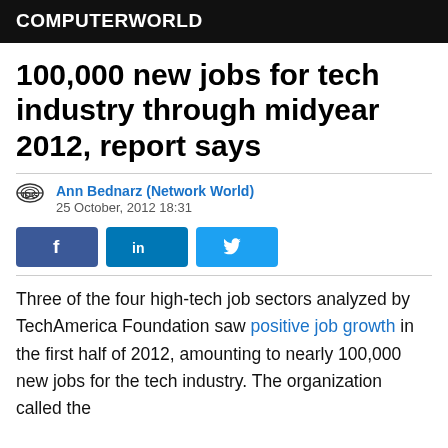COMPUTERWORLD
100,000 new jobs for tech industry through midyear 2012, report says
Ann Bednarz (Network World)
25 October, 2012 18:31
[Figure (other): Social share buttons: Facebook, LinkedIn, Twitter]
Three of the four high-tech job sectors analyzed by TechAmerica Foundation saw positive job growth in the first half of 2012, amounting to nearly 100,000 new jobs for the tech industry. The organization called the